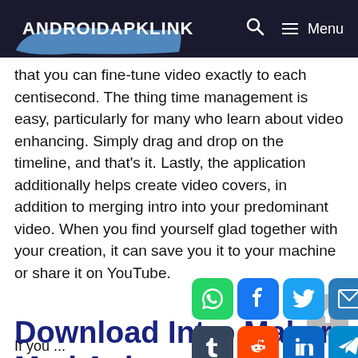ANDROIDAPKLINK  Menu
that you can fine-tune video exactly to each centisecond. The thing time management is easy, particularly for many who learn about video enhancing. Simply drag and drop on the timeline, and that's it. Lastly, the application additionally helps create video covers, in addition to merging intro into your predominant video. When you find yourself glad together with your creation, it can save you it to your machine or share it on YouTube.
[Figure (infographic): Social media share buttons: WhatsApp, Facebook, Twitter, Email, Pinterest, Tumblr, Reddit, LinkedIn, Telegram, Messenger, Share/More]
Download Intro Maker Mod Apk
If you ...